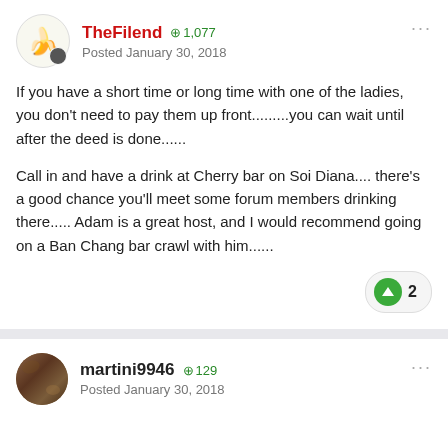TheFilend +1,077 Posted January 30, 2018
If you have a short time or long time with one of the ladies, you don't need to pay them up front.........you can wait until after the deed is done......
Call in and have a drink at Cherry bar on Soi Diana.... there's a good chance you'll meet some forum members drinking there..... Adam is a great host, and I would recommend going on a Ban Chang bar crawl with him......
martini9946 +129 Posted January 30, 2018